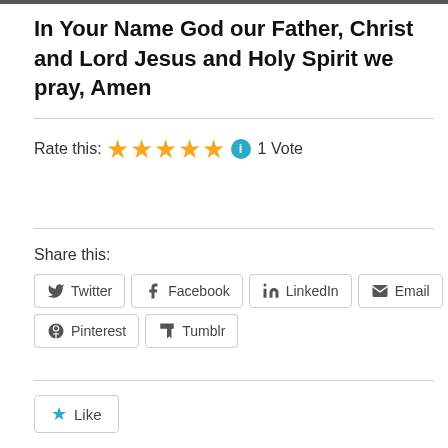In Your Name God our Father, Christ and Lord Jesus and Holy Spirit we pray, Amen
Rate this: ★★★★★ ℹ 1 Vote
Share this:
Twitter
Facebook
LinkedIn
Email
Pinterest
Tumblr
Like
Be the first to like this.